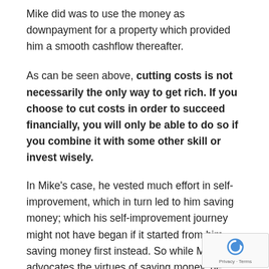Mike did was to use the money as downpayment for a property which provided him a smooth cashflow thereafter.
As can be seen above, cutting costs is not necessarily the only way to get rich. If you choose to cut costs in order to succeed financially, you will only be able to do so if you combine it with some other skill or invest wisely.
In Mike's case, he vested much effort in self-improvement, which in turn led to him saving money; which his self-improvement journey might not have began if it started from him saving money first instead. So while Mike still advocates the virtues of saving money, he encourages his frie to find more ways to make money at the same time